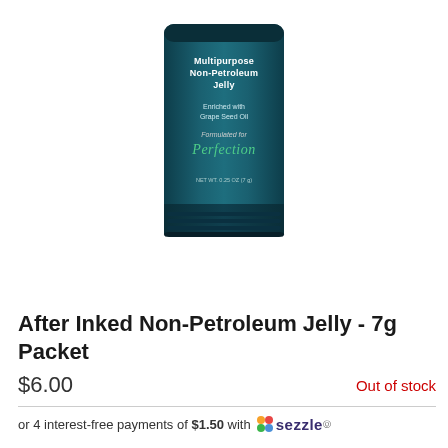[Figure (photo): Product image of After Inked Multipurpose Non-Petroleum Jelly packet - a dark teal/navy colored foil packet with text: 'Multipurpose Non-Petroleum Jelly', 'Enriched with Grape Seed Oil', 'Formulated for Perfection' in green script, and 'NET WT. 0.25 OZ (7g)']
After Inked Non-Petroleum Jelly - 7g Packet
$6.00
Out of stock
or 4 interest-free payments of $1.50 with Sezzle